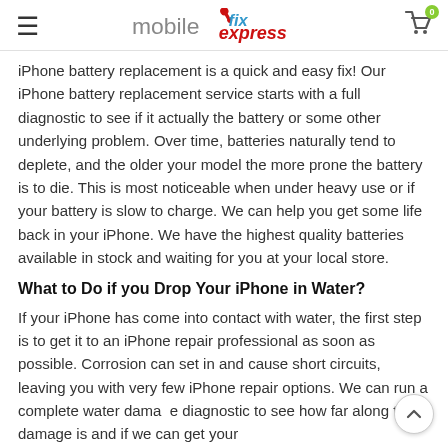mobilexpress fix
iPhone battery replacement is a quick and easy fix! Our iPhone battery replacement service starts with a full diagnostic to see if it actually the battery or some other underlying problem. Over time, batteries naturally tend to deplete, and the older your model the more prone the battery is to die. This is most noticeable when under heavy use or if your battery is slow to charge. We can help you get some life back in your iPhone. We have the highest quality batteries available in stock and waiting for you at your local store.
What to Do if you Drop Your iPhone in Water?
If your iPhone has come into contact with water, the first step is to get it to an iPhone repair professional as soon as possible. Corrosion can set in and cause short circuits, leaving you with very few iPhone repair options. We can run a complete water damage diagnostic to see how far along the damage is and if we can get your